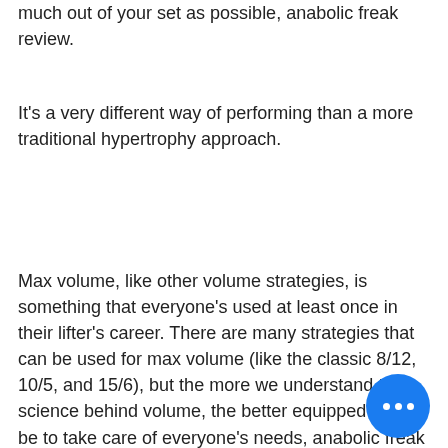much out of your set as possible, anabolic freak review.
It's a very different way of performing than a more traditional hypertrophy approach.
Max volume, like other volume strategies, is something that everyone's used at least once in their lifter's career. There are many strategies that can be used for max volume (like the classic 8/12, 10/5, and 15/6), but the more we understand the science behind volume, the better equipped we'll be to take care of everyone's needs, anabolic freak review. In short, volume is just a way of doing volume. You use it as such, not in a judgmental way. Just because someone "ran all the volume" doesn't mean they "did every single rep, anabolic freak and test freak stack review." That just implies that the something more you need to know about